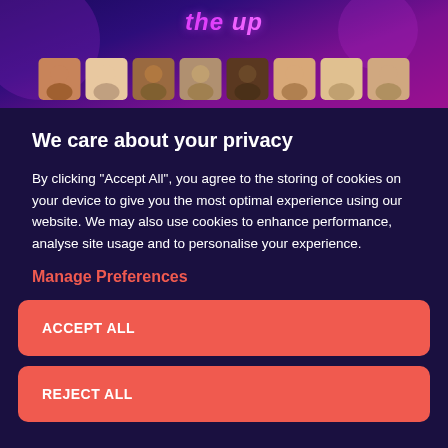[Figure (illustration): Website banner with purple/pink gradient background showing a social network logo and a row of profile photos of diverse people]
We care about your privacy
By clicking “Accept All”, you agree to the storing of cookies on your device to give you the most optimal experience using our website. We may also use cookies to enhance performance, analyse site usage and to personalise your experience.
Manage Preferences
ACCEPT ALL
REJECT ALL